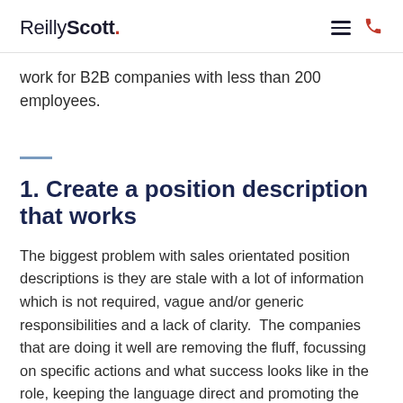ReillyScott.
work for B2B companies with less than 200 employees.
1. Create a position description that works
The biggest problem with sales orientated position descriptions is they are stale with a lot of information which is not required, vague and/or generic responsibilities and a lack of clarity.  The companies that are doing it well are removing the fluff, focussing on specific actions and what success looks like in the role, keeping the language direct and promoting the